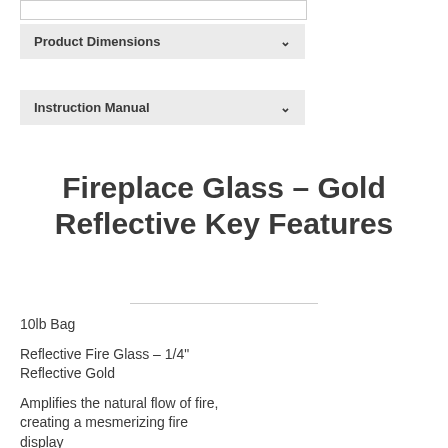Product Dimensions
Instruction Manual
Fireplace Glass – Gold Reflective Key Features
10lb Bag
Reflective Fire Glass – 1/4" Reflective Gold
Amplifies the natural flow of fire, creating a mesmerizing fire display